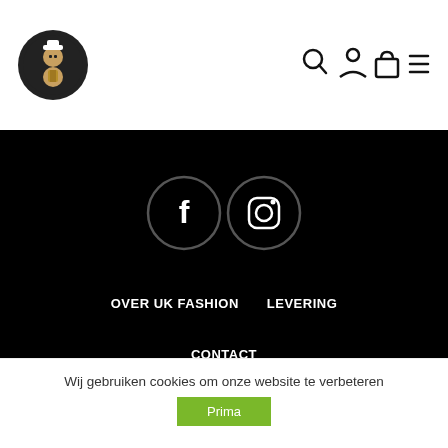[Figure (logo): Circular logo with illustrated character on dark background]
[Figure (illustration): Header navigation icons: search, user/account, shopping bag, hamburger menu]
[Figure (illustration): Social media icons: Facebook (f) and Instagram in circular outlines on black background]
OVER UK FASHION
LEVERING
CONTACT
ALGEMENE VOORWAARDEN
PRIVACY
Wij gebruiken cookies om onze website te verbeteren
Prima